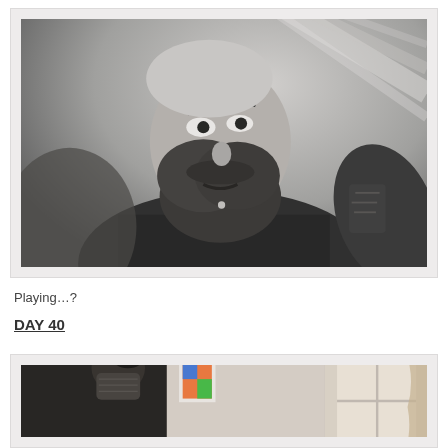[Figure (photo): Black and white selfie photo of a bearded man with a shaved head, looking up at the camera, wearing a dark shirt, blurred motion background]
Playing...?
DAY 40
[Figure (photo): Color photo of a person wearing a black mask and dark clothing leaning over another person, near a window with curtains, appears to be a grooming or styling scene]